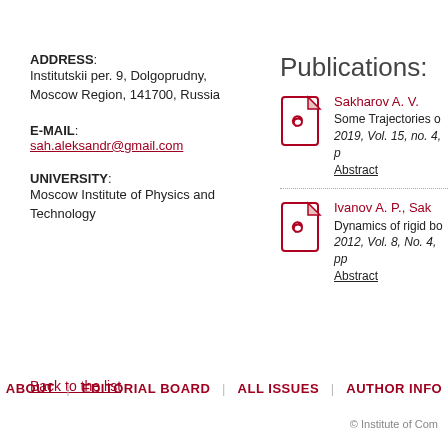ADDRESS: Institutskii per. 9, Dolgoprudny, Moscow Region, 141700, Russia
E-MAIL: sah.aleksandr@gmail.com
UNIVERSITY: Moscow Institute of Physics and Technology
Publications:
Sakharov A. V. Some Trajectories o... 2019, Vol. 15, no. 4, p... Abstract
Ivanov A. P., Sak... Dynamics of rigid bo... 2012, Vol. 8, No. 4, pp... Abstract
Back to the list
ABOUT | EDITORIAL BOARD | ALL ISSUES | AUTHOR INFO
© Institute of Com...